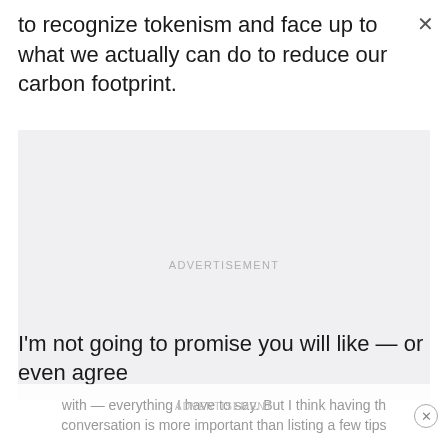to recognize tokenism and face up to what we actually can do to reduce our carbon footprint.
[Figure (other): Advertisement placeholder box with light gray background and centered 'ADVERTISEMENT' label text]
I'm not going to promise you will like — or even agree with — everything I have to say. But I think having the conversation is more important than listing a few tips